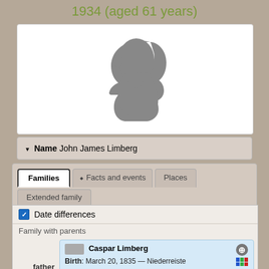1934 (aged 61 years)
[Figure (illustration): Gray silhouette of a person's head/bust profile facing left, on white background]
▾ Name John James Limberg
Families | Facts and events | Places | Extended family
✓ Date differences
Family with parents
| Role | Person |
| --- | --- |
| father | Caspar Limberg
Birth: March 20, 1835 — Niederreiste
Occupation: Schreiner
Death: October 18, 1925 — Westholme |
| mother | Margaret Goldmann
Birth: 1848 — Essen
Death: June 8, 1912 — Westholme |